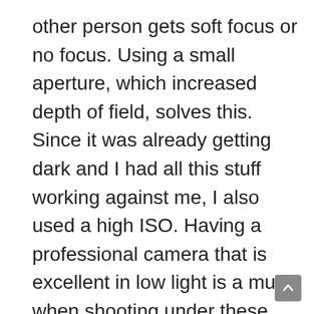other person gets soft focus or no focus. Using a small aperture, which increased depth of field, solves this. Since it was already getting dark and I had all this stuff working against me, I also used a high ISO. Having a professional camera that is excellent in low light is a must when shooting under these conditions. I really envisioned the bride's veil blowing behind her. This didn't happen too easily, however the bride waved her arm up and down which made her veil look like to be blowing behind them. The Delray Beach Marriott is one of my favorite places to work for so many reasons. Having